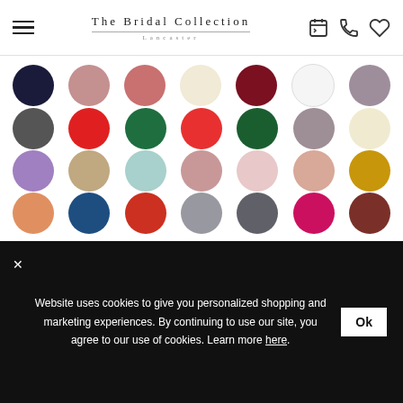The Bridal Collection Lancaster
[Figure (infographic): Grid of 28 color swatches (circles) in 4 rows of 7: Row 1: navy, dusty rose, coral rose, ivory, dark red, white, mauve. Row 2: dark gray, red, dark green, bright red, forest green, dusty purple, cream. Row 3: lavender, tan/khaki, light teal, dusty pink, blush, light peach, mustard/gold. Row 4: peach/orange, navy blue, tomato red, medium gray, dark gray, hot pink/magenta, dark brown.]
Website uses cookies to give you personalized shopping and marketing experiences. By continuing to use our site, you agree to our use of cookies. Learn more here.